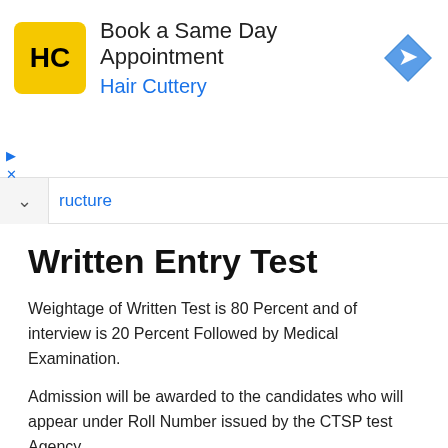[Figure (screenshot): Advertisement banner for Hair Cuttery showing logo, 'Book a Same Day Appointment' text, and navigation arrow icon]
ructure
Written Entry Test
Weightage of Written Test is 80 Percent and of interview is 20 Percent Followed by Medical Examination.
Admission will be awarded to the candidates who will appear under Roll Number issued by the CTSP test Agency.
Cadet College Jajja Admission 2021 Entry Test Date Gujar Khan
Entry Test: